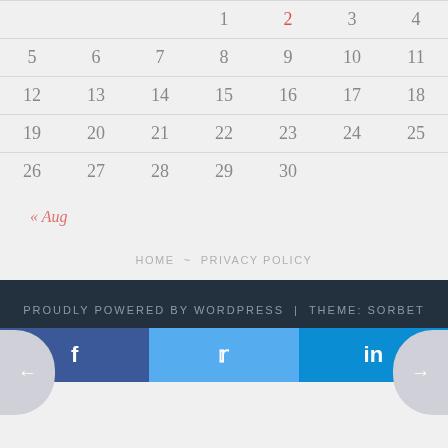|  |  |  |  |  |  |  |
| --- | --- | --- | --- | --- | --- | --- |
|  |  |  | 1 | 2 | 3 | 4 |
| 5 | 6 | 7 | 8 | 9 | 10 | 11 |
| 12 | 13 | 14 | 15 | 16 | 17 | 18 |
| 19 | 20 | 21 | 22 | 23 | 24 | 25 |
| 26 | 27 | 28 | 29 | 30 |  |  |
« Aug
HOME ~ PRIVACY POLICY
PROUDLY POWERED BY WORDPRESS | THEME: SORBET